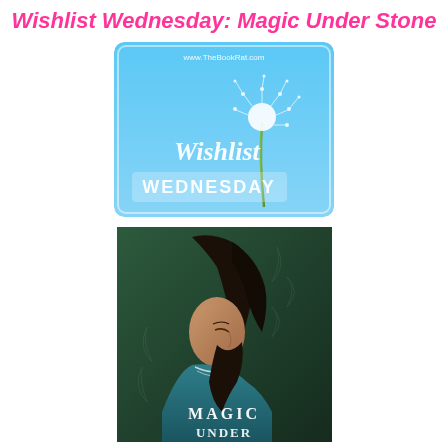Wishlist Wednesday: Magic Under Stone
[Figure (illustration): Wishlist Wednesday badge from www.TheBookRat.com featuring a dandelion blowing in the wind against a blue sky background, with cursive text 'Wishlist' and block letters 'WEDNESDAY']
[Figure (illustration): Book cover for 'Magic Under Stone' showing a dark-haired young woman in profile looking downward, wearing a teal/green dress, against a dark green textured background, with the text 'MAGIC UNDER' visible at the bottom]